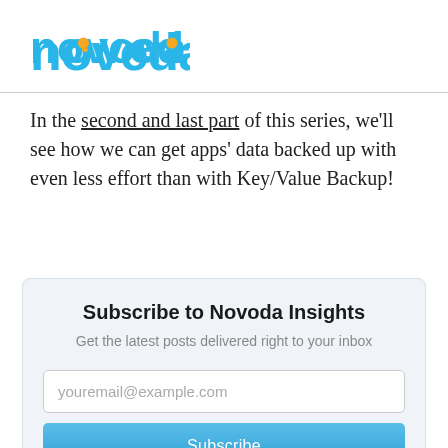[Figure (logo): Novoda logo — blue stylized text 'novoda' with orange dot accent]
In the second and last part of this series, we'll see how we can get apps' data backed up with even less effort than with Key/Value Backup!
Subscribe to Novoda Insights
Get the latest posts delivered right to your inbox
youremail@example.com
Subscribe